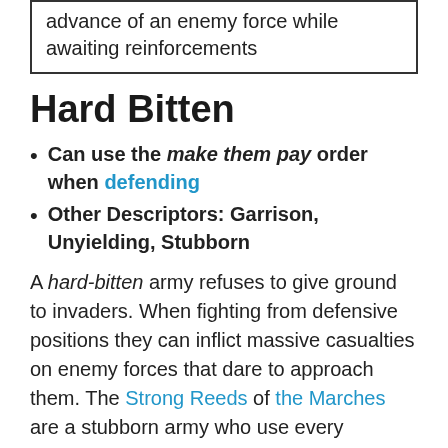advance of an enemy force while awaiting reinforcements
Hard Bitten
Can use the make them pay order when defending
Other Descriptors: Garrison, Unyielding, Stubborn
A hard-bitten army refuses to give ground to invaders. When fighting from defensive positions they can inflict massive casualties on enemy forces that dare to approach them. The Strong Reeds of the Marches are a stubborn army who use every advantage to make their enemies pay for every inch of Marcher soil they try to take, while the Fist of the Mountain possess a dogged refusal to back down before their foes. Some Druj armies are adept at using traps and treacherous tactics to slowy grind an agressor down as they attempt to claim